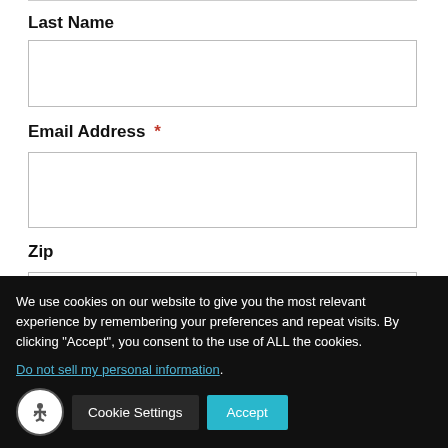Last Name
[Figure (screenshot): Empty text input field for Last Name]
Email Address *
[Figure (screenshot): Empty text input field for Email Address]
Zip
[Figure (screenshot): Empty text input field for Zip]
We use cookies on our website to give you the most relevant experience by remembering your preferences and repeat visits. By clicking “Accept”, you consent to the use of ALL the cookies.
Do not sell my personal information.
Cookie Settings
Accept